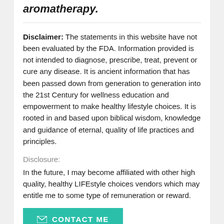aromatherapy.
Disclaimer: The statements in this website have not been evaluated by the FDA. Information provided is not intended to diagnose, prescribe, treat, prevent or cure any disease. It is ancient information that has been passed down from generation to generation into the 21st Century for wellness education and empowerment to make healthy lifestyle choices. It is rooted in and based upon biblical wisdom, knowledge and guidance of eternal, quality of life practices and principles.
Disclosure:
In the future, I may become affiliated with other high quality, healthy LIFEstyle choices vendors which may entitle me to some type of remuneration or reward.
CONTACT ME